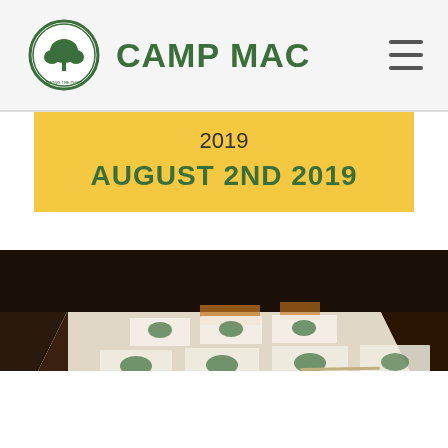CAMP MAC
2019
AUGUST 2ND 2019
[Figure (photo): A long wooden table covered with white paper and numerous Camp Mac registration/certificate documents arranged in rows, with a yellow sticker/badge visible in the lower left corner. The photo is taken from an angle showing the length of the table receding into the background.]